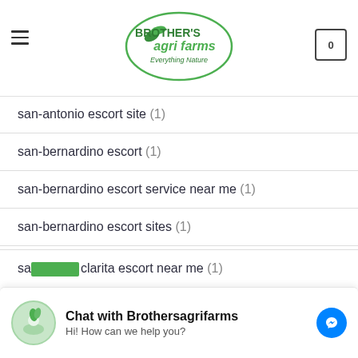[Figure (logo): Brother's Agri Farms logo inside an oval with leaves and text 'Everything Nature']
san-antonio escort site (1)
san-bernardino escort (1)
san-bernardino escort service near me (1)
san-bernardino escort sites (1)
san-bernardino live escort (1)
san-jose live escort (1)
sandy-springs escort services near me (2)
sandy-springs live escort (1)
Chat with Brothersagrifarms — Hi! How can we help you?
santa-clarita escort near me (1)